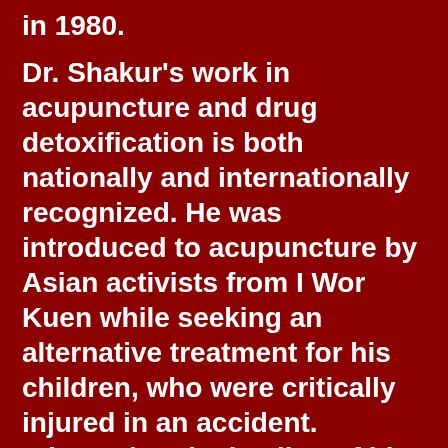in 1980.
Dr. Shakur's work in acupuncture and drug detoxification is both nationally and internationally recognized.  He was introduced to acupuncture by Asian activists from I Wor Kuen while seeking an alternative treatment for his children, who were critically injured in an accident. Witnessing the healing of his children and learning on how acupuncture being used in China by revolutionaries to combat imperialist-imposed opium addiction could be applied to combat the US government's genocidal War on Drugs on the Black community,   Mutulu became a doctor in Chinese medicine and acupuncture. In 1970 Dr. Shakur began working in the Lincoln